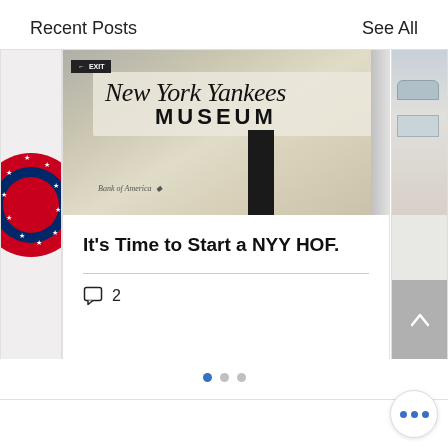Recent Posts    See All
[Figure (screenshot): New York Yankees Museum sign on exterior of stadium building, with script lettering reading 'New York Yankees' and bold all-caps 'MUSEUM' below, plus Bank of America signage and a black directional kiosk]
It's Time to Start a NYY HOF.
2 comments
[Figure (other): Pagination dots: three dots, first one filled blue (active), two grey]
[Figure (other): Three blue dots menu button (more options)]